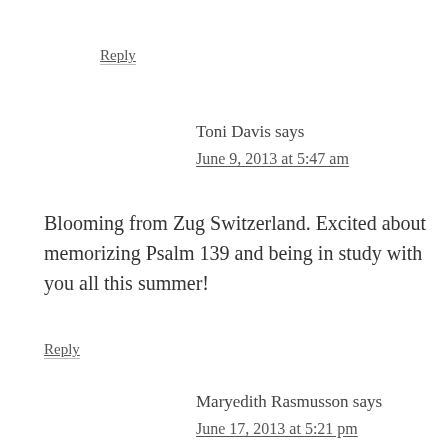Reply
Toni Davis says
June 9, 2013 at 5:47 am
Blooming from Zug Switzerland. Excited about memorizing Psalm 139 and being in study with you all this summer!
Reply
Maryedith Rasmusson says
June 17, 2013 at 5:21 pm